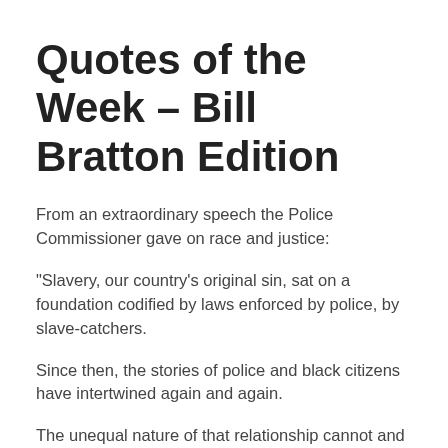Quotes of the Week – Bill Bratton Edition
From an extraordinary speech the Police Commissioner gave on race and justice:
“Slavery, our country’s original sin, sat on a foundation codified by laws enforced by police, by slave-catchers.
Since then, the stories of police and black citizens have intertwined again and again.
The unequal nature of that relationship cannot and must not be denied.” [Huffington Post]